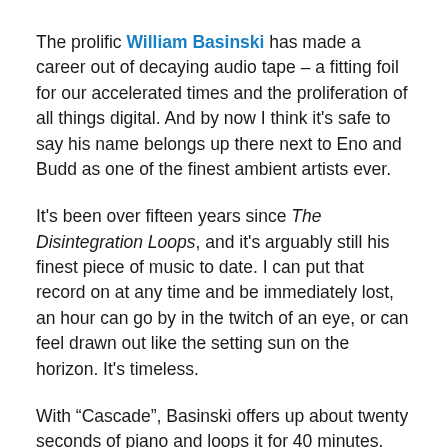The prolific William Basinski has made a career out of decaying audio tape – a fitting foil for our accelerated times and the proliferation of all things digital. And by now I think it's safe to say his name belongs up there next to Eno and Budd as one of the finest ambient artists ever.
It's been over fifteen years since The Disintegration Loops, and it's arguably still his finest piece of music to date. I can put that record on at any time and be immediately lost, an hour can go by in the twitch of an eye, or can feel drawn out like the setting sun on the horizon. It's timeless.
With “Cascade”, Basinski offers up about twenty seconds of piano and loops it for 40 minutes. That’s it. It sounds too simple to be effective, but as the loop repeats itself endlessly it morphs into something more murky and broken as the tape loop slowly decays, and in doing so